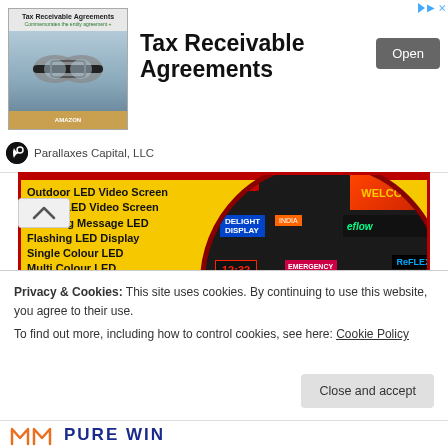[Figure (screenshot): Advertisement banner for Tax Receivable Agreements by Parallaxes Capital, LLC with book cover image, title text, and Open button]
[Figure (photo): LED display products advertisement showing various LED screens, signs, and video walls on yellow background with red border circle inset]
Privacy & Cookies: This site uses cookies. By continuing to use this website, you agree to their use.
To find out more, including how to control cookies, see here: Cookie Policy
Close and accept
PURE WIN